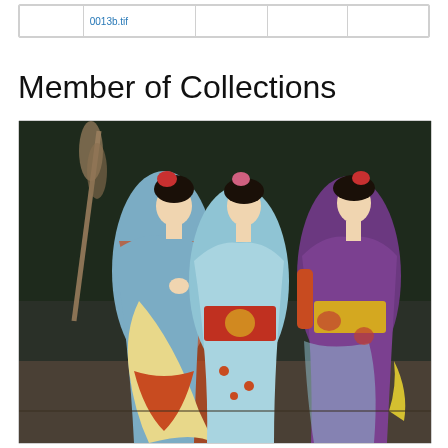|  |  |  |  |  |
| --- | --- | --- | --- | --- |
|  | 0013b.tif |  |  |  |
Member of Collections
[Figure (photo): A colorized historical photograph of three Japanese women (maiko/geisha) dressed in elaborate kimono and traditional hair ornaments. The woman on the left wears a blue and orange kimono with a yellow obi and is holding her hands together. The woman in the center wears a light blue kimono with a red obi. The woman on the right wears a purple kimono with a yellow and floral pattern. A broom is visible on the left side of the image.]